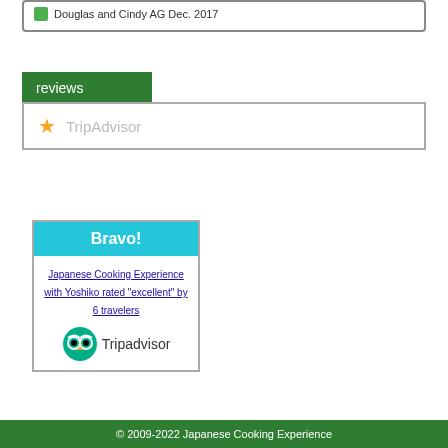Douglas and Cindy AG Dec. 2017
reviews
TripAdvisor
Bravo!
Japanese Cooking Experience with Yoshiko rated "excellent" by 6 travelers
[Figure (logo): Tripadvisor logo with owl icon]
© 2009-2022 Japanese Cooking Experience